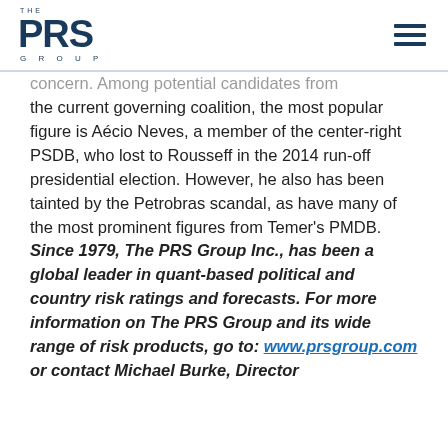THE PRS GROUP
concern. Among potential candidates from the current governing coalition, the most popular figure is Aécio Neves, a member of the center-right PSDB, who lost to Rousseff in the 2014 run-off presidential election. However, he also has been tainted by the Petrobras scandal, as have many of the most prominent figures from Temer's PMDB. Since 1979, The PRS Group Inc., has been a global leader in quant-based political and country risk ratings and forecasts. For more information on The PRS Group and its wide range of risk products, go to: www.prsgroup.com or contact Michael Burke, Director